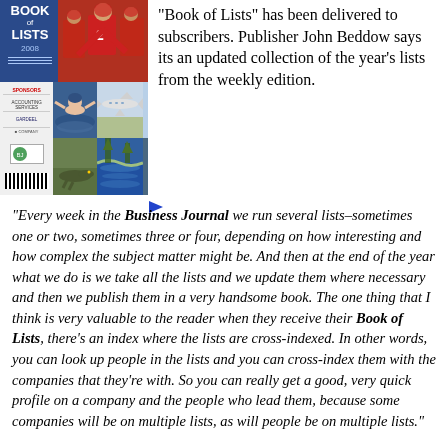[Figure (photo): Book of Lists 2008 cover showing sports and nature photos including football players, a swimmer, an airplane, an alligator, and water scene]
"Book of Lists" has been delivered to subscribers. Publisher John Beddow says its an updated collection of the year's lists from the weekly edition.
"Every week in the Business Journal we run several lists–sometimes one or two, sometimes three or four, depending on how interesting and how complex the subject matter might be. And then at the end of the year what we do is we take all the lists and we update them where necessary and then we publish them in a very handsome book. The one thing that I think is very valuable to the reader when they receive their Book of Lists, there's an index where the lists are cross-indexed. In other words, you can look up people in the lists and you can cross-index them with the companies that they're with. So you can really get a good, very quick profile on a company and the people who lead them, because some companies will be on multiple lists, as will people be on multiple lists."